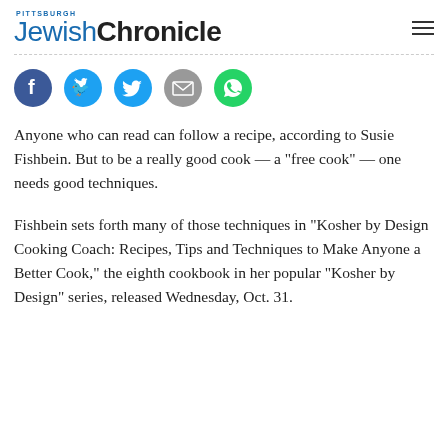Pittsburgh Jewish Chronicle
[Figure (other): Social media share icons: Facebook, Twitter, Email, WhatsApp]
Anyone who can read can follow a recipe, according to Susie Fishbein.  But to be a really good cook — a “free cook” — one needs good techniques.
Fishbein sets forth many of those techniques in “Kosher by Design Cooking Coach: Recipes, Tips and Techniques to Make Anyone a Better Cook,” the eighth cookbook in her  popular “Kosher by Design” series,  released Wednesday, Oct. 31.